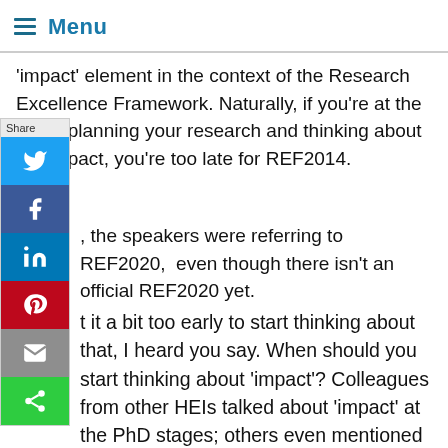Menu
'impact' element in the context of the Research Excellence Framework. Naturally, if you're at the stage planning your research and thinking about the impact, you're too late for REF2014.
, the speakers were referring to REF2020,  even though there isn't an official REF2020 yet.
t it a bit too early to start thinking about that, I heard you say. When should you start thinking about 'impact'? Colleagues from other HEIs talked about 'impact' at the PhD stages; others even mentioned 'impact' during undergrad. So, is there a 'right' time to start thinking about impact? Yes. The answer is, as early as possible.